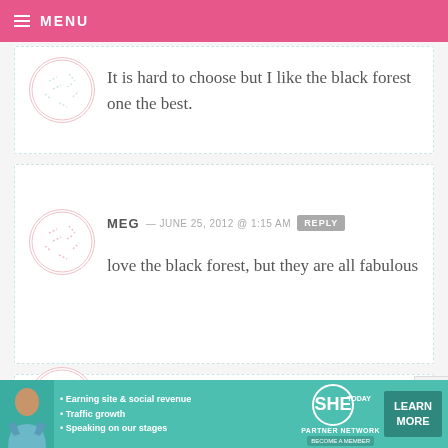MENU
It is hard to choose but I like the black forest one the best.
MEG — JUNE 25, 2012 @ 1:15 AM  REPLY
love the black forest, but they are all fabulous
WINTER — JUNE 25, 2012 @ 1:15 AM  REPLY
[Figure (infographic): SHE Partner Network advertisement banner with bullet points: Earning site & social revenue, Traffic growth, Speaking on our stages. Includes a Learn More button.]